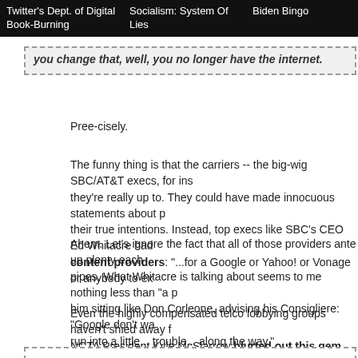Twitter's Dept. of Digital Book-Burning | Socialism: System Of Lies | Biden Bingo
you change that, well, you no longer have the internet.
Pree-cisely.
The funny thing is that the carriers -- the big-wig SBC/AT&T execs, for instance -- are telling us exactly what they're really up to. They could have made innocuous statements about providing better service and kept quiet about their true intentions. Instead, top execs like SBC's CEO Ed Whitacre had some choice words for content providers: "...for a Google or Yahoo! or Vonage or anybody to ex
Ahem. Let's ignore the fact that all of those providers ante up plenty each month to use those pipes. What Whitacre is talking about seems to me nothing less than "a protection racket." I can imagine him sitting like Don Corleone, advising his Consigliere: "Google don't wanna pay, well they might run into a little... trouble... along the way."
Even the highly compensated telco lobbying groups haven't shied away from this kind of talk. NCTA President Kyle McSlarrow blurted out this gem recently:
Let me be clear: NCTA's members have not, and will not, block the ability of their customers to access any lawful content, application, or services available on the Internet. But commitment should be consistent with tiers and terms of a custom